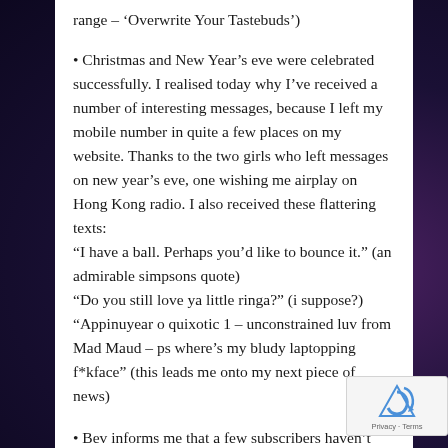range – ‘Overwrite Your Tastebuds’)
• Christmas and New Year’s eve were celebrated successfully. I realised today why I’ve received a number of interesting messages, because I left my mobile number in quite a few places on my website. Thanks to the two girls who left messages on new year’s eve, one wishing me airplay on Hong Kong radio. I also received these flattering texts:
“I have a ball. Perhaps you’d like to bounce it.” (an admirable simpsons quote)
“Do you still love ya little ringa?” (i suppose?)
“Appinuyear o quixotic 1 – unconstrained luv from Mad Maud – ps where’s my bludy laptopping f*kface” (this leads me onto my next piece of news)
• Bev informs me that a few subscribers haven’t been receiving their issues of late. I am thinking that our